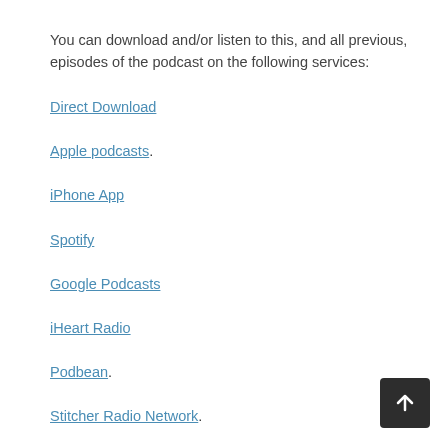You can download and/or listen to this, and all previous, episodes of the podcast on the following services:
Direct Download
Apple podcasts.
iPhone App
Spotify
Google Podcasts
iHeart Radio
Podbean.
Stitcher Radio Network.